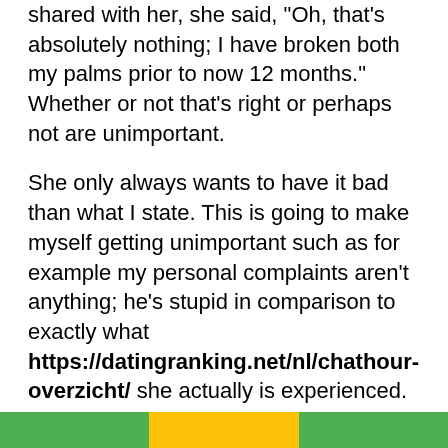shared with her, she said, "Oh, that's absolutely nothing; I have broken both my palms prior to now 12 months." Whether or not that's right or perhaps not are unimportant.
She only always wants to have it bad than what I state. This is going to make myself getting unimportant such as for example my personal complaints aren't anything; he's stupid in comparison to exactly what https://datingranking.net/nl/chathour-overzicht/ she actually is experienced. But, extremely? Have she most got they tough than simply me? I know first hand that of just what she has to state is actually an exaggeration. She merely must that-up me personally.
It's a cruel answer to answer another person's